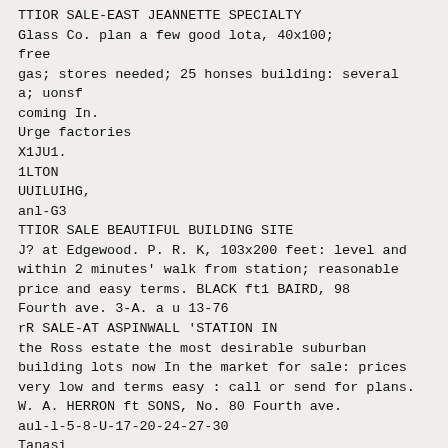TTIOR SALE-EAST JEANNETTE SPECIALTY Glass Co. plan a few good lota, 40x100; free
gas; stores needed; 25 honses building: several a; uonsf
coming In.
Urge factories
X1JU1.
1LTON
UUILUIHG,
anl-G3
TTIOR SALE BEAUTIFUL BUILDING SITE
J? at Edgewood. P. R. K, 103x200 feet: level and within 2 minutes' walk from station; reasonable price and easy terms. BLACK ft1 BAIRD, 98 Fourth ave. 3-A. a u 13-76
rR SALE-AT ASPINWALL 'STATION IN
the Ross estate the most desirable suburban building lots now In the market for sale: prices very low and terms easy : call or send for plans. W. A. HERRON ft SONS, No. 80 Fourth ave.
aul-l-5-8-U-17-20-24-27-30
Tanasi
FOR SALE-FARM 155 ACRES ONSHENAN
GO. near Sharon and Middlosox station; 2